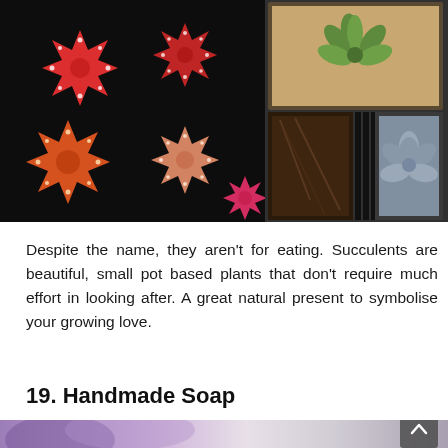[Figure (photo): Overhead view of colorful cacti (red, orange, pink star-shaped) arranged on dark background on the left, with small succulent plants in black plastic trays on the right.]
Despite the name, they aren't for eating. Succulents are beautiful, small pot based plants that don't require much effort in looking after. A great natural present to symbolise your growing love.
19. Handmade Soap
[Figure (photo): Partial photo showing blurred purple and grey tones, beginning of handmade soap image.]